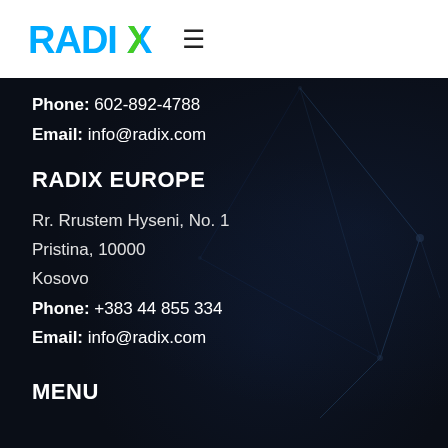[Figure (logo): RADIX logo in cyan/blue and green on white background with hamburger menu icon]
Phone: 602-892-4788
Email: info@radix.com
RADIX EUROPE
Rr. Rrustem Hyseni, No. 1
Pristina, 10000
Kosovo
Phone: +383 44 855 334
Email: info@radix.com
MENU